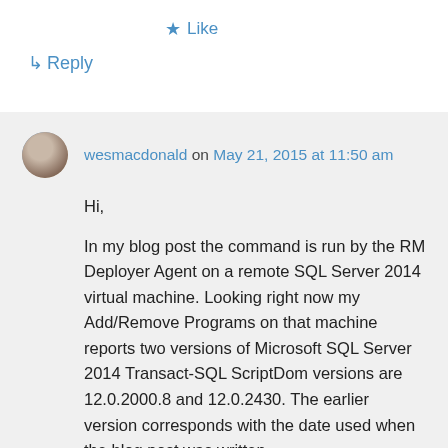★ Like
↳ Reply
wesmacdonald on May 21, 2015 at 11:50 am
Hi,

In my blog post the command is run by the RM Deployer Agent on a remote SQL Server 2014 virtual machine. Looking right now my Add/Remove Programs on that machine reports two versions of Microsoft SQL Server 2014 Transact-SQL ScriptDom versions are 12.0.2000.8 and 12.0.2430. The earlier version corresponds with the date used when the blog post was written.